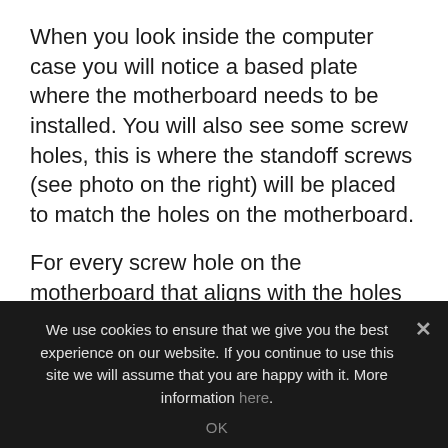When you look inside the computer case you will notice a based plate where the motherboard needs to be installed. You will also see some screw holes, this is where the standoff screws (see photo on the right) will be placed to match the holes on the motherboard.
For every screw hole on the motherboard that aligns with the holes on the base plate a standoff screw should be installed there.
You will notice the base plate has more hole than you need. Make sure you didn't place any standoff screws on the base plate where there
We use cookies to ensure that we give you the best experience on our website. If you continue to use this site we will assume that you are happy with it. More information here.
OK